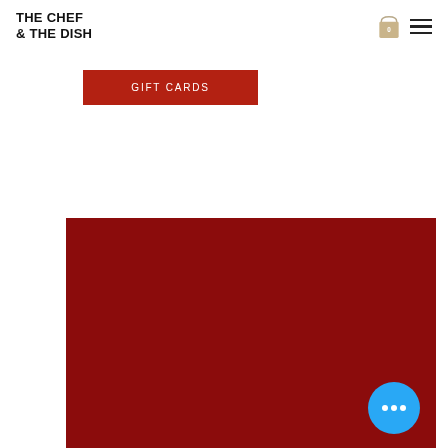THE CHEF & THE DISH
GIFT CARDS
[Figure (photo): Dark red / maroon solid color background block, likely a banner or image placeholder. A blue circular chat button with three white dots is overlaid in the bottom-right corner of the image block.]